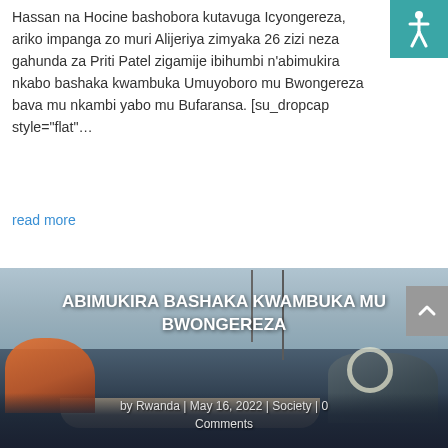Hassan na Hocine bashobora kutavuga Icyongereza, ariko impanga zo muri Alijeriya zimyaka 26 zizi neza gahunda za Priti Patel zigamije ibihumbi n'abimukira nkabo bashaka kwambuka Umuyoboro mu Bwongereza bava mu nkambi yabo mu Bufaransa. [su_dropcap style="flat"…
read more
[Figure (photo): Photo of migrants/refugees on a boat attempting to cross the English Channel, with people crowded together and boat masts visible against a grey sky. White text overlay reads 'ABIMUKIRA BASHAKA KWAMBUKA MU BWONGEREZA' with metadata below.]
ABIMUKIRA BASHAKA KWAMBUKA MU BWONGEREZA
by Rwanda | May 16, 2022 | Society | 0 Comments